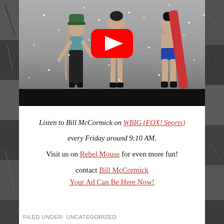[Figure (screenshot): YouTube video thumbnail showing three people in snow wearing minimal clothing, with a snowboard, in a snowstorm. A red YouTube play button is centered on the image.]
Listen to Bill McCormick on WBIG (FOX! Sports) every Friday around 9:10 AM. Visit us on Rebel Mouse for even more fun! contact Bill McCormick
Your Ad Can Be Here Now!
FILED UNDER: UNCATEGORIZED